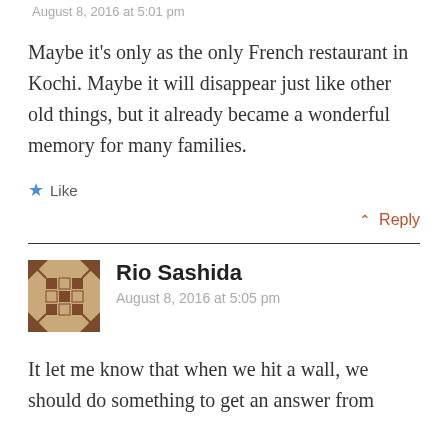August 8, 2016 at 5:01 pm
Maybe it’s only as the only French restaurant in Kochi. Maybe it will disappear just like other old things, but it already became a wonderful memory for many families.
Like
⌃ Reply
Rio Sashida
August 8, 2016 at 5:05 pm
It let me know that when we hit a wall, we should do something to get an answer from